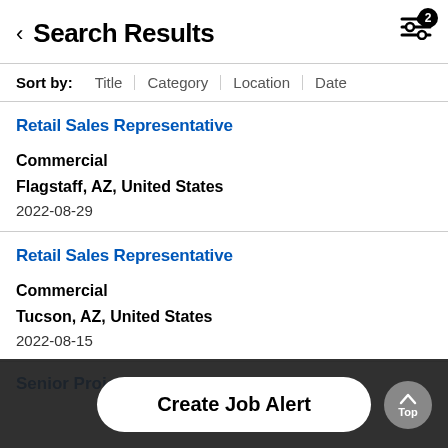Search Results
Sort by: Title | Category | Location | Date
Retail Sales Representative
Commercial
Flagstaff, AZ, United States
2022-08-29
Retail Sales Representative
Commercial
Tucson, AZ, United States
2022-08-15
Senior Project Manager...
Create Job Alert